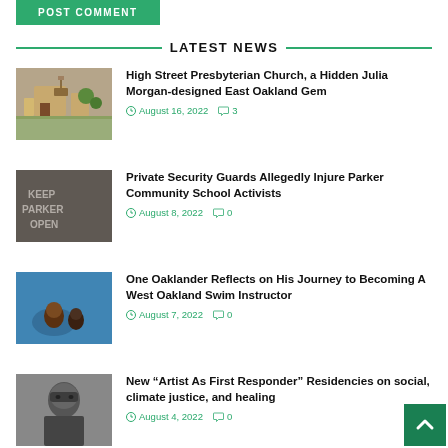POST COMMENT
LATEST NEWS
[Figure (photo): Exterior photo of High Street Presbyterian Church, a small stucco building]
High Street Presbyterian Church, a Hidden Julia Morgan-designed East Oakland Gem
August 16, 2022  3
[Figure (photo): Chalk writing on pavement reading KEEP PARKER OPEN]
Private Security Guards Allegedly Injure Parker Community School Activists
August 8, 2022  0
[Figure (photo): Photo of swim instructor with child in pool]
One Oaklander Reflects on His Journey to Becoming A West Oakland Swim Instructor
August 7, 2022  0
[Figure (photo): Black and white portrait photo of a person wearing sunglasses]
New “Artist As First Responder” Residencies on social, climate justice, and healing
August 4, 2022  0